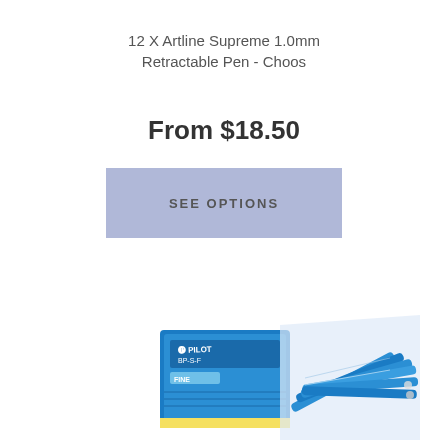12 X Artline Supreme 1.0mm Retractable Pen - Choos
From $18.50
SEE OPTIONS
[Figure (photo): Product image showing a box of Pilot BP-S-F Fine pens with a fan of blue pens spread open beside it]